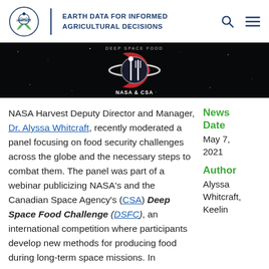HARVEST | EARTH DATA FOR INFORMED AGRICULTURAL DECISIONS
[Figure (photo): Banner image with NASA & CSA Deep Space Food Challenge logo on a black starfield background]
NASA Harvest Deputy Director and Manager, Dr. Alyssa Whitcraft, recently moderated a panel focusing on food security challenges across the globe and the necessary steps to combat them. The panel was part of a webinar publicizing NASA's and the Canadian Space Agency's (CSA) Deep Space Food Challenge (DSFC), an international competition where participants develop new methods for producing food during long-term space missions. In
News Date
May 7, 2021
Author
Alyssa Whitcraft, Keelin